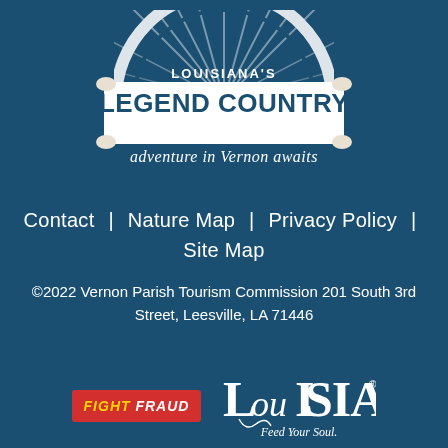[Figure (logo): Louisiana's Legend Country — adventure in Vernon awaits logo. White semicircle arch with rays, bird silhouette, banner with 'LOUISIANA'S' text, large dark 'LEGEND COUNTRY' text on white scroll banner, script text 'adventure in Vernon awaits' below.]
Contact  |  Nature Map  |  Privacy Policy  |  Site Map
©2022 Vernon Parish Tourism Commission 201 South 3rd Street, Leesville, LA 71446
[Figure (logo): Fight Fraud logo — red rectangle badge with italic white and yellow bold text 'FIGHT FRAUD']
[Figure (logo): Louisiana Feed Your Soul logo — white stylized 'LOUISIANA' lettering with decorative script 'Feed Your Soul.' below]